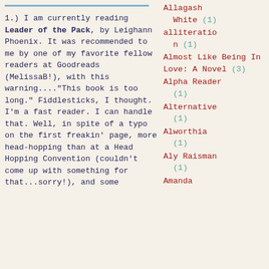1.) I am currently reading Leader of the Pack, by Leighann Phoenix. It was recommended to me by one of my favorite fellow readers at Goodreads (MelissaB!), with this warning...."This book is too long." Fiddlesticks, I thought. I'm a fast reader. I can handle that. Well, in spite of a typo on the first freakin' page, more head-hopping than at a Head Hopping Convention (couldn't come up with something for that...sorry!), and some
Allagash White (1)
alliteration (1)
Almost Like Being In Love: A Novel (3)
Alpha Reader (1)
Alternative (1)
Alworthia (1)
Aly Raisman (1)
Amanda